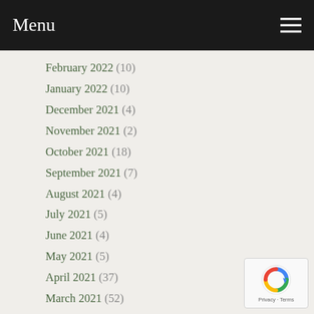Menu
February 2022 (10)
January 2022 (10)
December 2021 (4)
November 2021 (2)
October 2021 (18)
September 2021 (7)
August 2021 (4)
July 2021 (5)
June 2021 (4)
May 2021 (5)
April 2021 (37)
March 2021 (52)
February 2021 (60)
January 2021 (60)
December 2020 (57)
November 2020 (46)
October 2020 (33)
September 2020 (32)